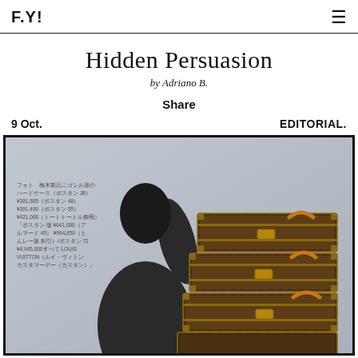F.Y!
Hidden Persuasion
by Adriano B.
Share
9 Oct.
EDITORIAL.
[Figure (photo): Editorial fashion photograph showing a person in dark clothing holding up a stack of Louis Vuitton monogram luggage trunks against a light background, with Japanese text visible in the upper left corner of the image.]